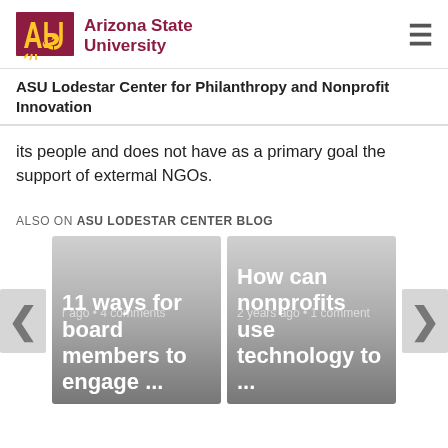ASU Arizona State University
ASU Lodestar Center for Philanthropy and Nonprofit Innovation
its people and does not have as a primary goal the support of extermal NGOs.
ALSO ON ASU LODESTAR CENTER BLOG
[Figure (screenshot): Card 1: r ago • 4 comments — 11 ways for board members to engage ...]
[Figure (screenshot): Card 2: 2 years ago • 1 comment — How can nonprofits use technology to ...]